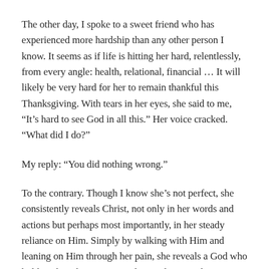The other day, I spoke to a sweet friend who has experienced more hardship than any other person I know. It seems as if life is hitting her hard, relentlessly, from every angle: health, relational, financial … It will likely be very hard for her to remain thankful this Thanksgiving. With tears in her eyes, she said to me, “It’s hard to see God in all this.” Her voice cracked. “What did I do?”
My reply: “You did nothing wrong.”
To the contrary. Though I know she’s not perfect, she consistently reveals Christ, not only in her words and actions but perhaps most importantly, in her steady reliance on Him. Simply by walking with Him and leaning on Him through her pain, she reveals a God who holds tight, who remains and never lets go. She demonstrates the reality of the gospel.